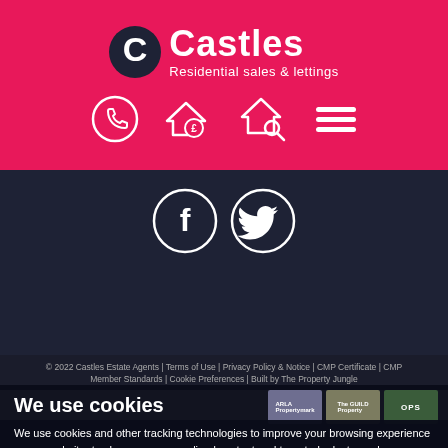[Figure (logo): Castles Estate Agents logo — white C in dark circle, Castles text in white bold, subtitle Residential sales & lettings in white]
[Figure (infographic): Navigation icons: phone, house with pound sign, house with magnifier, hamburger menu — all white on pink background]
[Figure (infographic): Social media icons: Facebook and Twitter circles, white on dark navy background]
© 2022 Castles Estate Agents | Terms of Use | Privacy Policy & Notice | CMP Certificate | CMP Member Standards | Cookie Preferences | Built by The Property Jungle
We use cookies
We use cookies and other tracking technologies to improve your browsing experience on our website, to show you personalized content and targeted ads, to analyze our website traffic, and to understand where our visitors are coming from.